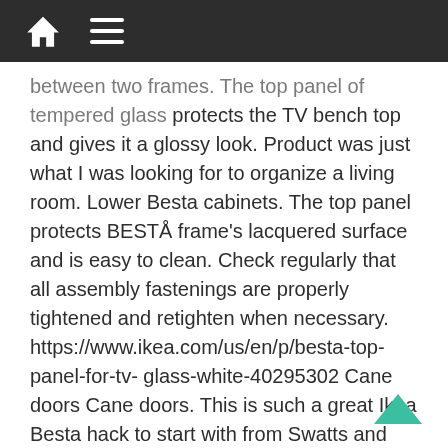[Home icon] [Menu icon]
between two frames. The top panel of tempered glass protects the TV bench top and gives it a glossy look. Product was just what I was looking for to organize a living room. Lower Besta cabinets. The top panel protects BESTÅ frame's lacquered surface and is easy to clean. Check regularly that all assembly fastenings are properly tightened and retighten when necessary. https://www.ikea.com/us/en/p/besta-top-panel-for-tv-glass-white-40295302 Cane doors Cane doors. This is such a great Ikea Besta hack to start with from Swatts and Co. ... For the price a great value. Avoid bumps from the side - this is where the glass is most vulnerable. Here is our IKEA built-in shelf/closet project in our living room!! The only good thing about BESTA are the glossy white doors. 2 BESTÅ Shelf unit (120x40x64) ( 40€ each ) ILSENG 4 panels for sliding doors frame ( 38 € ) Aluminium profile E 5 mt ( 12 € ) Saw; Glue; I needed a